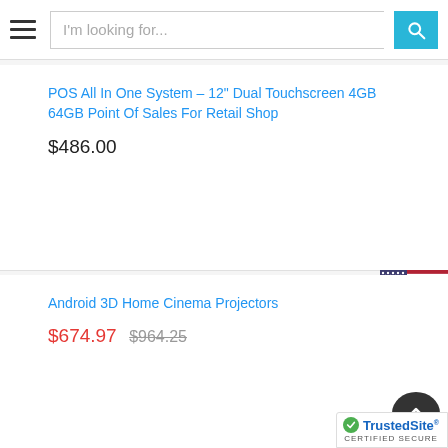[Figure (screenshot): Website header with hamburger menu icon, search bar with placeholder 'I'm looking for...' and a cyan/blue search button with magnifying glass icon]
POS All In One System – 12" Dual Touchscreen 4GB 64GB Point Of Sales For Retail Shop
$486.00
[Figure (illustration): US flag icon displayed in top-right area]
Android 3D Home Cinema Projectors
$674.97  $964.25
[Figure (logo): TrustedSite Certified Secure badge in bottom right corner]